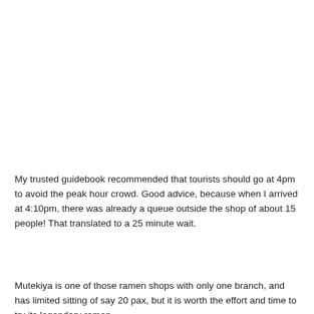My trusted guidebook recommended that tourists should go at 4pm to avoid the peak hour crowd. Good advice, because when I arrived at 4:10pm, there was already a queue outside the shop of about 15 people! That translated to a 25 minute wait.
Mutekiya is one of those ramen shops with only one branch, and has limited sitting of say 20 pax, but it is worth the effort and time to try its legendary ramen.